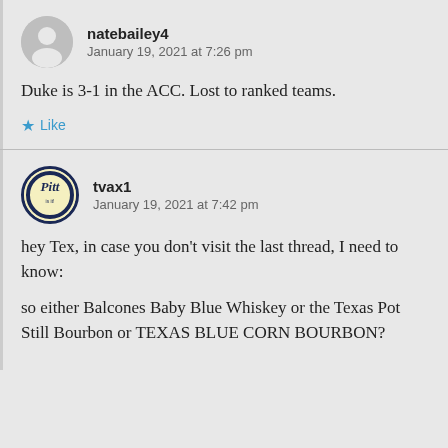natebailey4
January 19, 2021 at 7:26 pm
Duke is 3-1 in the ACC. Lost to ranked teams.
Like
tvax1
January 19, 2021 at 7:42 pm
hey Tex, in case you don’t visit the last thread, I need to know:
so either Balcones Baby Blue Whiskey or the Texas Pot Still Bourbon or TEXAS BLUE CORN BOURBON?